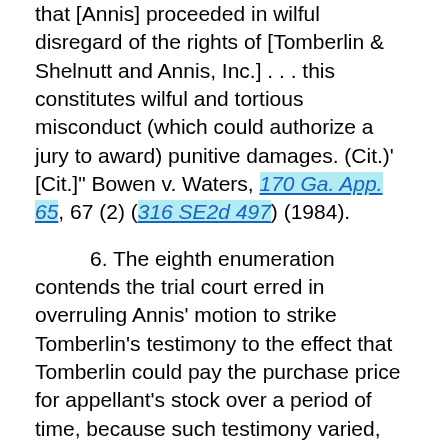that [Annis] proceeded in wilful disregard of the rights of [Tomberlin & Shelnutt and Annis, Inc.] . . . this constitutes wilful and tortious misconduct (which could authorize a jury to award) punitive damages. (Cit.)' [Cit.]" Bowen v. Waters, 170 Ga. App. 65, 67 (2) (316 SE2d 497) (1984).
6. The eighth enumeration contends the trial court erred in overruling Annis' motion to strike Tomberlin's testimony to the effect that Tomberlin could pay the purchase price for appellant's stock over a period of time, because such testimony varied, contradicted, and conflicted with the terms of the original stock purchase contract and